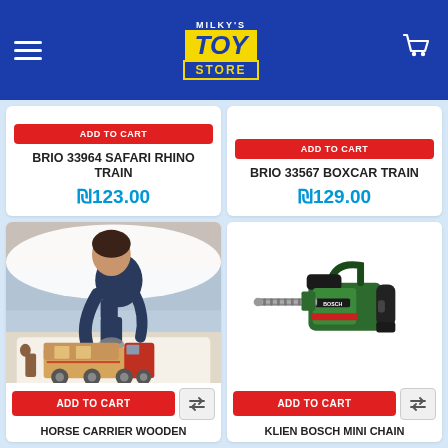Milky's Toy Store
BRIO 33964 SAFARI RHINO TRAIN
₪123.00
BRIO 33567 BOXCAR TRAIN
₪129.00
[Figure (photo): Young boy playing with wooden horse carrier truck toy set on a rug]
ADD TO CART
HORSE CARRIER WOODEN
[Figure (photo): Klien Bosch mini toy chainsaw, green and black]
ADD TO CART
KLIEN BOSCH MINI CHAIN